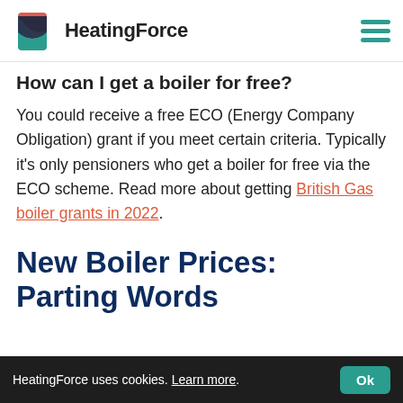HeatingForce
How can I get a boiler for free?
You could receive a free ECO (Energy Company Obligation) grant if you meet certain criteria. Typically it’s only pensioners who get a boiler for free via the ECO scheme. Read more about getting British Gas boiler grants in 2022.
New Boiler Prices: Parting Words
HeatingForce uses cookies. Learn more. Ok